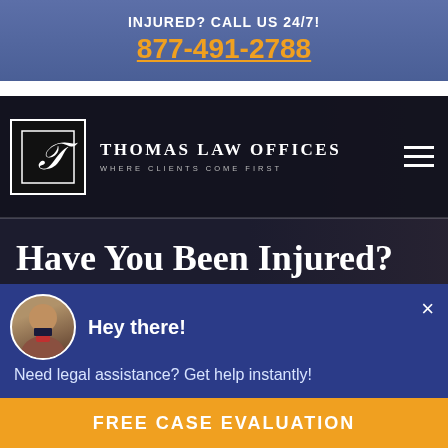INJURED? CALL US 24/7! 877-491-2788
[Figure (logo): Thomas Law Offices logo with stylized T emblem and tagline WHERE CLIENTS COME FIRST]
Have You Been Injured? We're Ready to Fight for
[Figure (screenshot): Chat popup with attorney avatar photo, text: Hey there! Need legal assistance? Get help instantly!]
FREE CASE EVALUATION